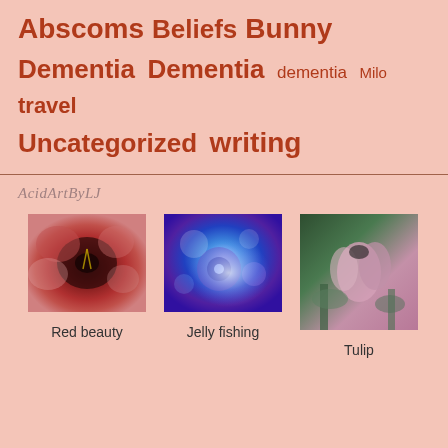Abscoms Beliefs Bunny Dementia Dementia dementia Milo travel Uncategorized writing
AcidArtByLJ
[Figure (photo): Close-up of a red flower (tulip/rose), viewed from above showing petals and center]
Red beauty
[Figure (photo): Glowing blue and purple jellyfish with light bokeh effect]
Jelly fishing
[Figure (photo): Pink tulip bud among green leaves in garden]
Tulip